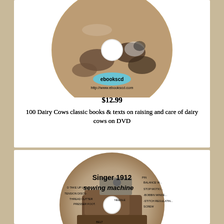[Figure (illustration): A CD/DVD disc with sepia-toned image of dairy cows and the label 'ebookscd' and 'http://www.ebookscd.com']
$12.99
100 Dairy Cows classic books & texts on raising and care of dairy cows on DVD
[Figure (illustration): A CD/DVD disc with sepia-toned image of a Singer 1912 sewing machine, labeled with machine parts: BALANCE W, STOP MOTION, BOBBIN WINDER, STITCH REGULATING SCREW, NEEDLE, THREAD CUTTER, PRESSER FOOT, TENSION DISCS, TAKE UP LEVER, PIN, BELT GUIDE]